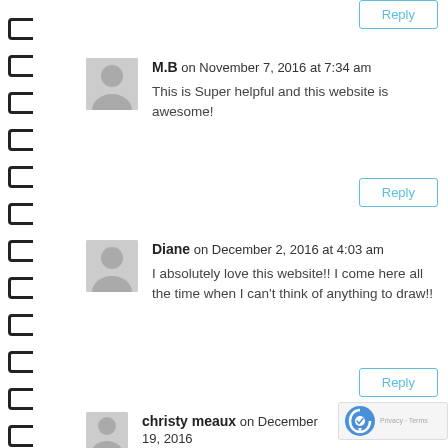[Figure (other): Spiral notebook binding on left side]
Reply (top, partial)
M.B on November 7, 2016 at 7:34 am
This is Super helpful and this website is awesome!
Reply
Diane on December 2, 2016 at 4:03 am
I absolutely love this website!! I come here all the time when I can't think of anything to draw!!
Reply
christy meaux on December 19, 2016 12:50